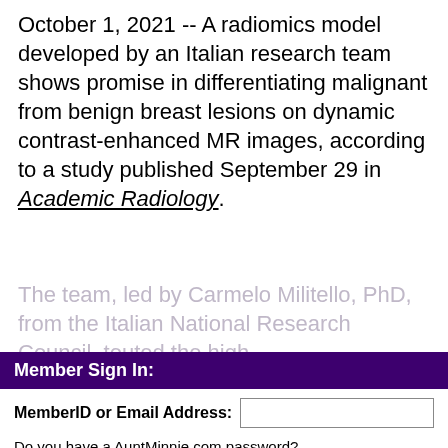October 1, 2021 -- A radiomics model developed by an Italian research team shows promise in differentiating malignant from benign breast lesions on dynamic contrast-enhanced MR images, according to a study published September 29 in Academic Radiology.
The team, led by Carmelo Militello, PhD, from the Italian National Research Council, touted the high
Member Sign In:
MemberID or Email Address:
Do you have a AuntMinnie.com password?
No, I want a free membership.
Yes, I have a password:
Forgot your password?